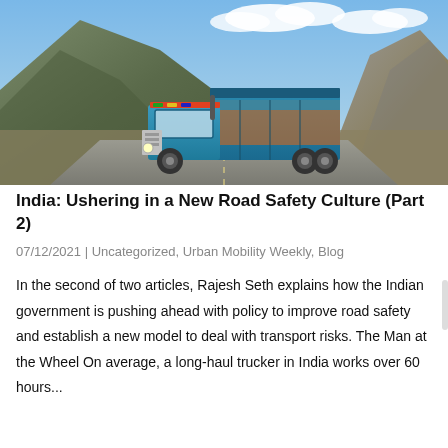[Figure (photo): A brightly decorated blue Indian long-haul truck driving on a mountain road with rocky hills and blue sky in the background.]
India: Ushering in a New Road Safety Culture (Part 2)
07/12/2021 | Uncategorized, Urban Mobility Weekly, Blog
In the second of two articles, Rajesh Seth explains how the Indian government is pushing ahead with policy to improve road safety and establish a new model to deal with transport risks. The Man at the Wheel On average, a long-haul trucker in India works over 60 hours...